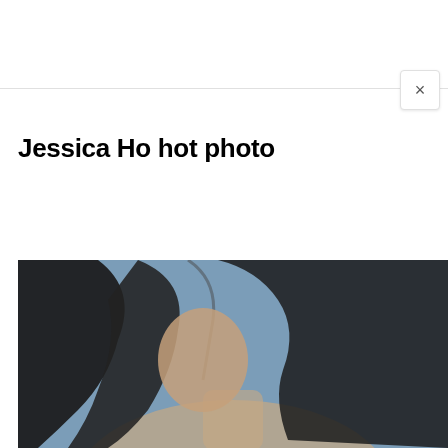[Figure (other): Close button (×) in top-right corner of a browser or app overlay panel]
Jessica Ho hot photo
[Figure (photo): Photo of a woman with long dark black hair against a blue-grey studio background, head and shoulders visible]